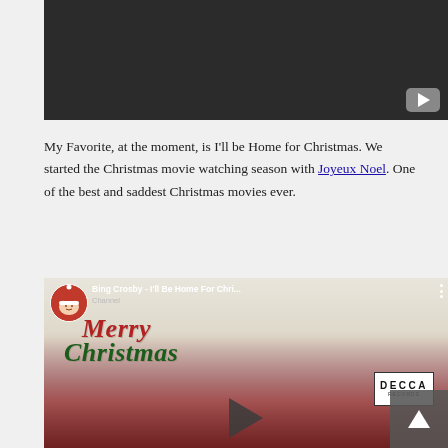[Figure (screenshot): Dark video thumbnail or embed area at the top with a YouTube play button icon in the lower right corner]
My Favorite, at the moment, is I'll be Home for Christmas. We started the Christmas movie watching season with Joyeux Noel. One of the best and saddest Christmas movies ever.
[Figure (screenshot): YouTube video embed showing Bing Crosby - I'll Be Home For Christmas with Merry Christmas text overlay, Decca Records logo, a channel icon with Santa in upper left, and a play button at the bottom center]